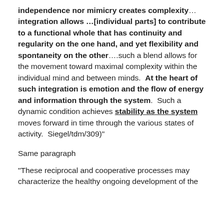independence nor mimicry creates complexity… integration allows …[individual parts] to contribute to a functional whole that has continuity and regularity on the one hand, and yet flexibility and spontaneity on the other….such a blend allows for the movement toward maximal complexity within the individual mind and between minds.  At the heart of such integration is emotion and the flow of energy and information through the system.  Such a dynamic condition achieves stability as the system moves forward in time through the various states of activity.  Siegel/tdm/309)"
Same paragraph
"These reciprocal and cooperative processes may characterize the healthy ongoing development of the